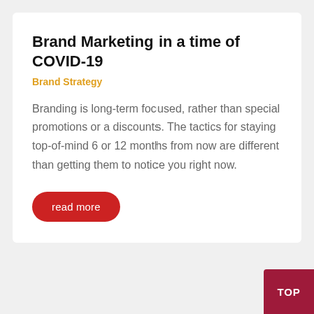Brand Marketing in a time of COVID-19
Brand Strategy
Branding is long-term focused, rather than special promotions or a discounts. The tactics for staying top-of-mind 6 or 12 months from now are different than getting them to notice you right now.
read more
TOP